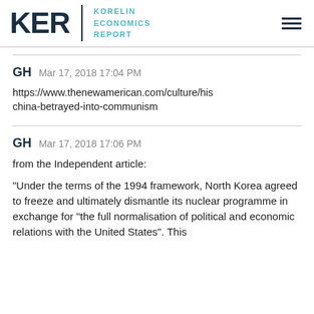KER | KORELIN ECONOMICS REPORT
GH  Mar 17, 2018 17:04 PM
https://www.thenewamerican.com/culture/his-china-betrayed-into-communism
GH  Mar 17, 2018 17:06 PM
from the Independent article:
“Under the terms of the 1994 framework, North Korea agreed to freeze and ultimately dismantle its nuclear programme in exchange for “the full normalisation of political and economic relations with the United States”. This